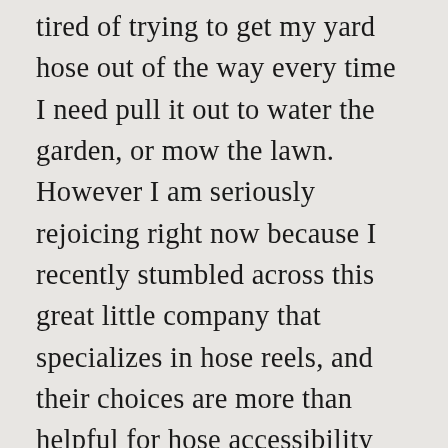tired of trying to get my yard hose out of the way every time I need pull it out to water the garden, or mow the lawn. However I am seriously rejoicing right now because I recently stumbled across this great little company that specializes in hose reels, and their choices are more than helpful for hose accessibility and storage in unique spots. Log In. Because it can be configured for either parallel or perpendicular accessibility, it is a favorite with customers who have spaces that have proven difficult, or challenging to access with other types of hose reel ... Having a well-rounded garden hose for your backyard is definitely a necessity. Eley rates this model for 175 feet of standard ⅝″ hose, but we